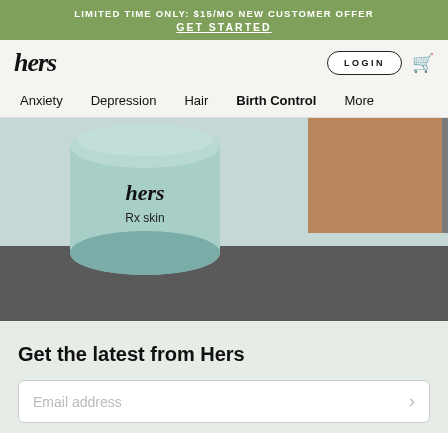LIMITED TIME ONLY: $15/MO NEW CUSTOMER OFFER GET STARTED
hers
LOGIN
Anxiety  Depression  Hair  Birth Control  More
[Figure (photo): Close-up of a teal/mint frosted glass jar labeled 'hers Rx skin' sitting on a dark gray surface with a cardboard/cork box in the background]
Get the latest from Hers
Email address